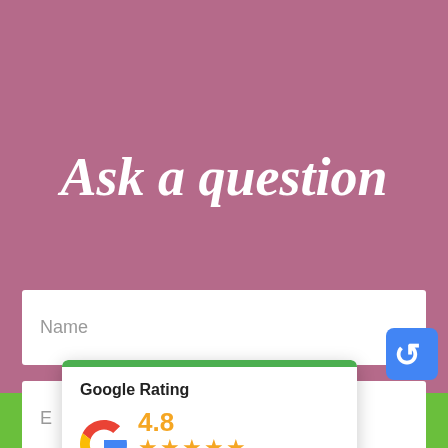Ask a question
Name
E
[Figure (infographic): Google Rating popup overlay with green top bar, Google G logo, rating number 4.8, five orange stars, and text 'Based on 50 reviews']
Call Now